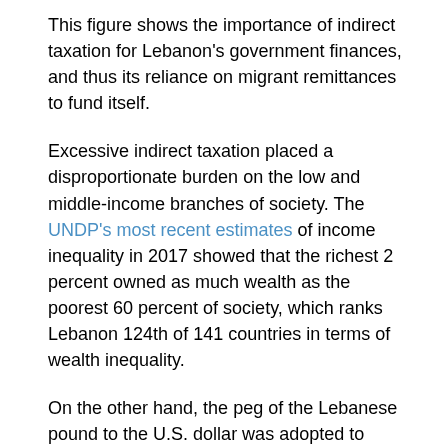This figure shows the importance of indirect taxation for Lebanon's government finances, and thus its reliance on migrant remittances to fund itself.
Excessive indirect taxation placed a disproportionate burden on the low and middle-income branches of society. The UNDP's most recent estimates of income inequality in 2017 showed that the richest 2 percent owned as much wealth as the poorest 60 percent of society, which ranks Lebanon 124th of 141 countries in terms of wealth inequality.
On the other hand, the peg of the Lebanese pound to the U.S. dollar was adopted to encourage the inflow of remittances. The easy convertibility of the two currencies and the stability of the exchange rate soothed expectations and prevented uncertainty in times of political crisis.
The cost of such a policy, which is not yet in question, is...